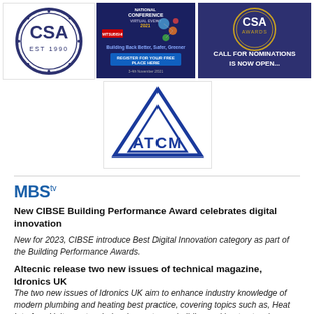[Figure (logo): CSA EST 1990 circular logo in navy blue]
[Figure (illustration): National Conference Virtual Event 2021 Mitsubishi Electric banner - Building Back Better, Safer, Greener - Register for your free place here]
[Figure (illustration): CSA Awards - Call for Nominations is now open...]
[Figure (logo): ATCM blue triangle logo with ATCM text below]
[Figure (logo): MBS tv logo in blue]
New CIBSE Building Performance Award celebrates digital innovation
New for 2023, CIBSE introduce Best Digital Innovation category as part of the Building Performance Awards.
Altecnic release two new issues of technical magazine, Idronics UK
The two new issues of Idronics UK aim to enhance industry knowledge of modern plumbing and heating best practice, covering topics such as, Heat Interface Units, system balancing, net-zero building and heat network design.